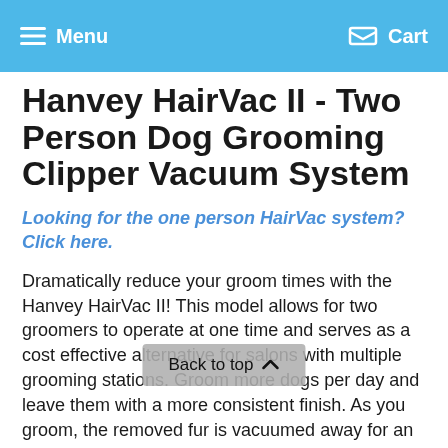Menu  Cart
Hanvey HairVac II - Two Person Dog Grooming Clipper Vacuum System
Looking for the one person HairVac system? Click here.
Dramatically reduce your groom times with the Hanvey HairVac II! This model allows for two groomers to operate at one time and serves as a cost effective alternative for salons with multiple grooming stations. Groom more dogs per day and leave them with a more consistent finish. As you groom, the removed fur is vacuumed away for an easy cleanup,